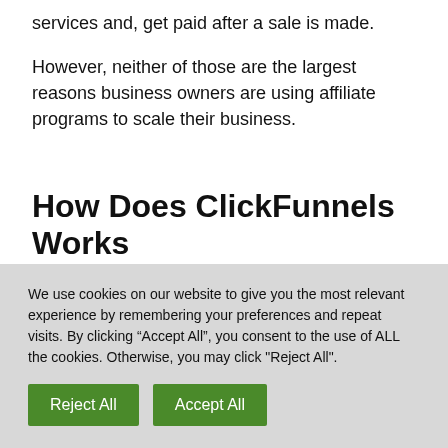services and, get paid after a sale is made.
However, neither of those are the largest reasons business owners are using affiliate programs to scale their business.
How Does ClickFunnels Works
Let’s find out how ClickFunnels can assist
We use cookies on our website to give you the most relevant experience by remembering your preferences and repeat visits. By clicking “Accept All”, you consent to the use of ALL the cookies. Otherwise, you may click "Reject All".